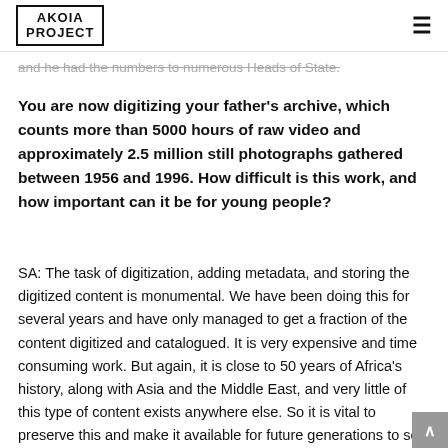AKOIA PROJECT
and he had the numbers to numerous Heads of State.
You are now digitizing your father's archive, which counts more than 5000 hours of raw video and approximately 2.5 million still photographs gathered between 1956 and 1996. How difficult is this work, and how important can it be for young people?
SA: The task of digitization, adding metadata, and storing the digitized content is monumental. We have been doing this for several years and have only managed to get a fraction of the content digitized and catalogued. It is very expensive and time consuming work. But again, it is close to 50 years of Africa's history, along with Asia and the Middle East, and very little of this type of content exists anywhere else. So it is vital to preserve this and make it available for future generations to see Africa through his lens, understand the personalities that brought independence